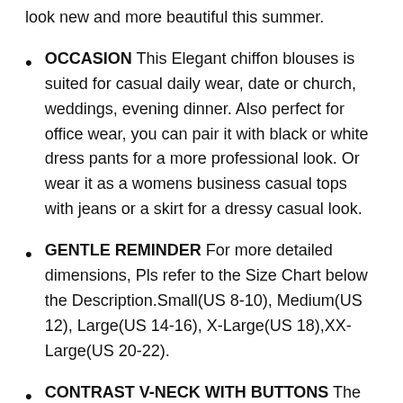look new and more beautiful this summer.
OCCASION This Elegant chiffon blouses is suited for casual daily wear, date or church, weddings, evening dinner. Also perfect for office wear, you can pair it with black or white dress pants for a more professional look. Or wear it as a womens business casual tops with jeans or a skirt for a dressy casual look.
GENTLE REMINDER For more detailed dimensions, Pls refer to the Size Chart below the Description.Small(US 8-10), Medium(US 12), Large(US 14-16), X-Large(US 18),XX-Large(US 20-22).
CONTRAST V-NECK WITH BUTTONS The classic V-neck design makes your neck looks more slender. The unique contrasting color and